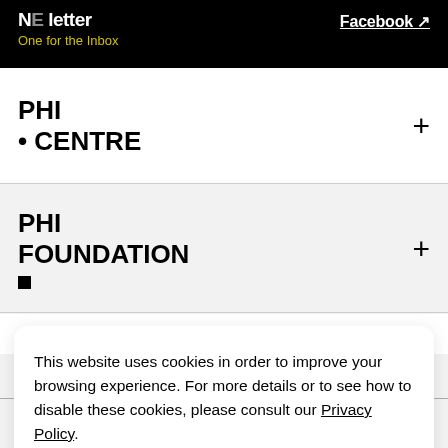NEletter — One for the Inbox | Facebook ↗
PHI
• CENTRE
PHI
FOUNDATION
■
Phi...
This website uses cookies in order to improve your browsing experience. For more details or to see how to disable these cookies, please consult our Privacy Policy.
Accept